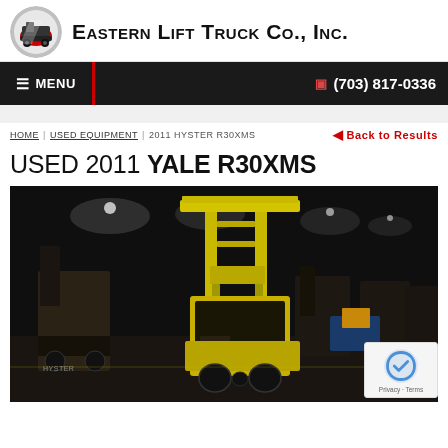Eastern Lift Truck Co., Inc.
≡ MENU   (703) 817-0336
HOME | USED EQUIPMENT | 2011 HYSTER R30XMS   ◄ Back to Results
USED 2011 YALE R30XMS
[Figure (photo): Warehouse interior with a yellow Yale R30XMS reach forklift in the foreground. Multiple other forklifts and equipment visible in a large dark warehouse space.]